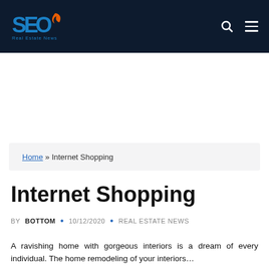SER Real Estate News
Home » Internet Shopping
Internet Shopping
BY BOTTOM • 10/12/2020 • REAL ESTATE NEWS
A ravishing home with gorgeous interiors is a dream of every individual. The home remodeling of your interiors...